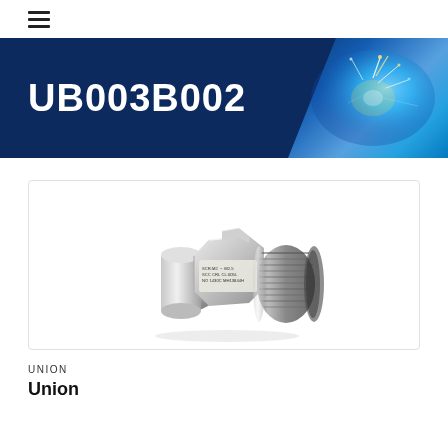≡
UB003B002
[Figure (photo): 3D render of a stainless steel union pipe fitting with threaded female end and hexagonal body, showing manufacturer markings on the label]
UNION
Union